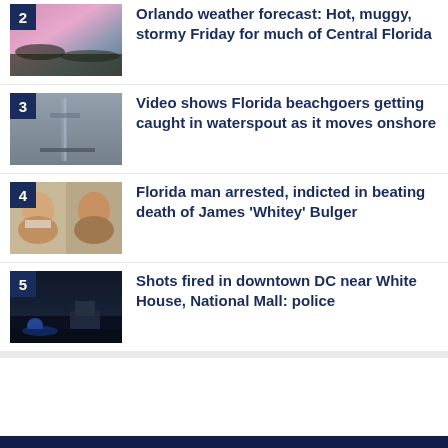[Figure (photo): Pink/purple cloudy sky at dusk or dawn with trees silhouetted - weather thumbnail]
Orlando weather forecast: Hot, muggy, stormy Friday for much of Central Florida
[Figure (photo): Stormy scene near water/pier, gray misty atmosphere - waterspout thumbnail]
Video shows Florida beachgoers getting caught in waterspout as it moves onshore
[Figure (photo): Mugshots of two men, one older with white beard, one younger - crime thumbnail]
Florida man arrested, indicted in beating death of James 'Whitey' Bulger
[Figure (photo): Night scene with police lights and vehicles near a government building - DC shots thumbnail]
Shots fired in downtown DC near White House, National Mall: police
Regional News   Weather